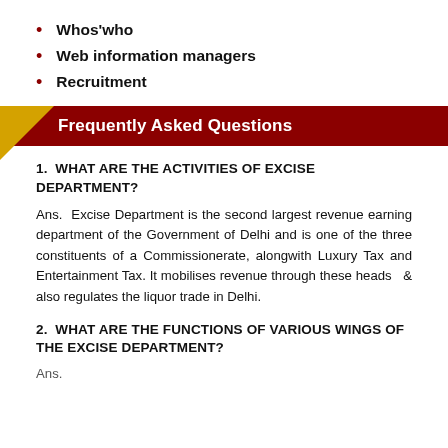Whos'who
Web information managers
Recruitment
Frequently Asked Questions
1. WHAT ARE THE ACTIVITIES OF EXCISE DEPARTMENT?
Ans. Excise Department is the second largest revenue earning department of the Government of Delhi and is one of the three constituents of a Commissionerate, alongwith Luxury Tax and Entertainment Tax. It mobilises revenue through these heads  & also regulates the liquor trade in Delhi.
2. WHAT ARE THE FUNCTIONS OF VARIOUS WINGS OF THE EXCISE DEPARTMENT?
Ans.